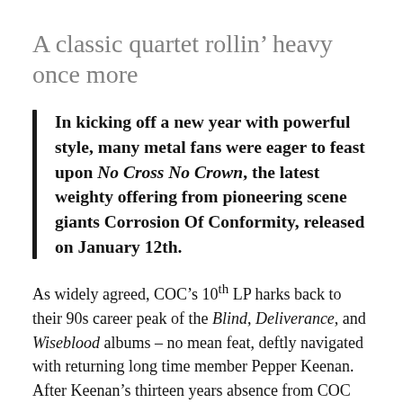A classic quartet rollin’ heavy once more
In kicking off a new year with powerful style, many metal fans were eager to feast upon No Cross No Crown, the latest weighty offering from pioneering scene giants Corrosion Of Conformity, released on January 12th.
As widely agreed, COC’s 10th LP harks back to their 90s career peak of the Blind, Deliverance, and Wiseblood albums – no mean feat, deftly navigated with returning long time member Pepper Keenan. After Keenan’s thirteen years absence from COC preceding their release of